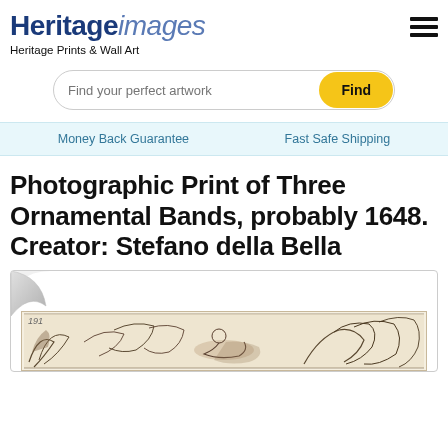Heritage images — Heritage Prints & Wall Art
Find your perfect artwork — Find
Money Back Guarantee   Fast Safe Shipping
Photographic Print of Three Ornamental Bands, probably 1648. Creator: Stefano della Bella
[Figure (photo): Photographic print of three ornamental bands, circa 1648, by Stefano della Bella. Shows ornate decorative bands with scrollwork, foliage, and figures. The image is displayed with a curled corner effect, suggesting a physical print.]